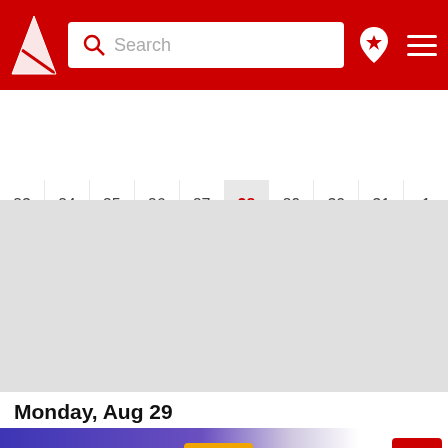[Figure (screenshot): Red navigation header bar with a logo (white arrow triangle on red), a search box with magnifying glass icon and 'Search' placeholder text, a map pin icon with star, and a hamburger menu icon on white background]
[Figure (other): Horizontal calendar strip showing dates 23–31 and 1, with date 28 highlighted in grey and red text. Below the dates is a tide/waveform chart with blue sinusoidal wave lines on white background.]
[Figure (other): Grey empty main calendar content area]
Monday, Aug 29
Wind   Weather
[Figure (infographic): Weather row with purple-to-white gradient background. Shows time '02', left-pointing arrow, '4 kts' wind speed, crescent moon icon, '17°C' in orange/amber badge, and red up-arrow button on right. Below shows 'max 7 kts' and '1004 hPa'.]